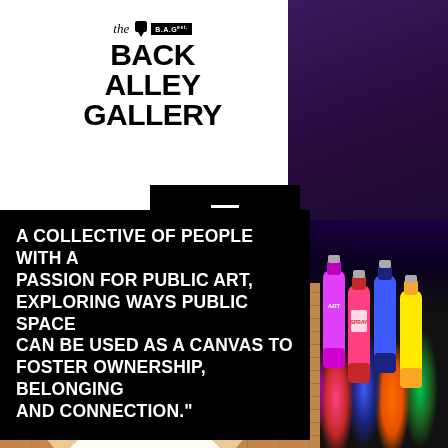[Figure (logo): The Back Alley Gallery logo with marker icon and B.A.G text badge]
A COLLECTIVE OF PEOPLE WITH A PASSION FOR PUBLIC ART, EXPLORING WAYS PUBLIC SPACE CAN BE USED AS A CANVAS TO FOSTER OWNERSHIP, BELONGING AND CONNECTION."
[Figure (photo): Street mural on brick building showing large face with dramatic eye makeup, with windows and AC unit visible, spray paint cans on right side]